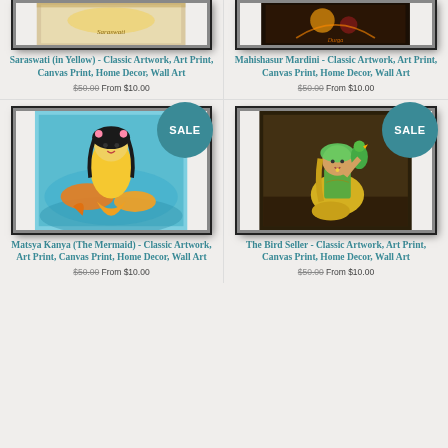[Figure (photo): Top portion of Saraswati (in Yellow) artwork showing framed artwork image - partially cropped at top]
[Figure (photo): Top portion of Mahishasur Mardini artwork showing framed artwork image - partially cropped at top]
Saraswati (in Yellow) - Classic Artwork, Art Print, Canvas Print, Home Decor, Wall Art
$50.00 From $10.00
Mahishasur Mardini - Classic Artwork, Art Print, Canvas Print, Home Decor, Wall Art
$50.00 From $10.00
[Figure (photo): Matsya Kanya (The Mermaid) artwork - colorful painting of mermaid figure with fish, yellow tones, framed in black with SALE badge]
[Figure (photo): The Bird Seller artwork - painting of woman in yellow attire with parrot, dark background, framed in black with SALE badge]
Matsya Kanya (The Mermaid) - Classic Artwork, Art Print, Canvas Print, Home Decor, Wall Art
$50.00 From $10.00
The Bird Seller - Classic Artwork, Art Print, Canvas Print, Home Decor, Wall Art
$50.00 From $10.00